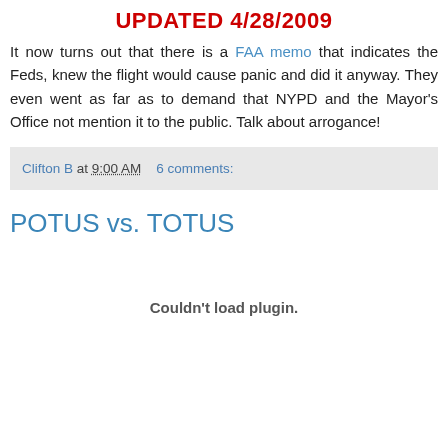UPDATED 4/28/2009
It now turns out that there is a FAA memo that indicates the Feds, knew the flight would cause panic and did it anyway. They even went as far as to demand that NYPD and the Mayor's Office not mention it to the public. Talk about arrogance!
Clifton B at 9:00 AM    6 comments:
POTUS vs. TOTUS
Couldn't load plugin.